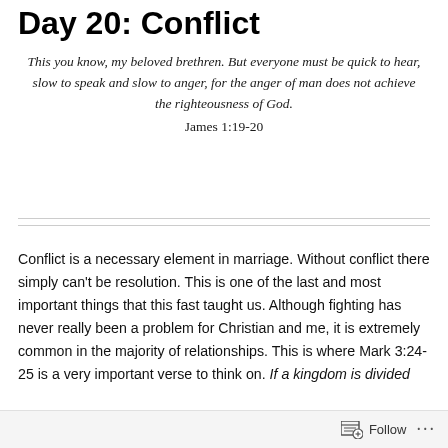Day 20: Conflict
This you know, my beloved brethren.  But everyone must be quick to hear, slow to speak and slow to anger, for the anger of man does not achieve the righteousness of God.
James 1:19-20
Conflict is a necessary element in marriage.  Without conflict there simply can't be resolution.  This is one of the last and most important things that this fast taught us.  Although fighting has never really been a problem for Christian and me, it is extremely common in the majority of relationships.  This is where Mark 3:24-25 is a very important verse to think on.  If a kingdom is divided
Follow